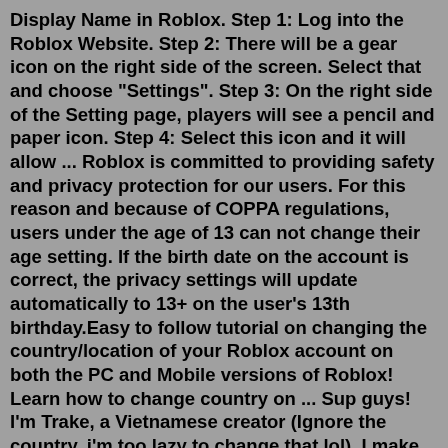Display Name in Roblox. Step 1: Log into the Roblox Website. Step 2: There will be a gear icon on the right side of the screen. Select that and choose "Settings". Step 3: On the right side of the Setting page, players will see a pencil and paper icon. Step 4: Select this icon and it will allow ... Roblox is committed to providing safety and privacy protection for our users. For this reason and because of COPPA regulations, users under the age of 13 can not change their age setting. If the birth date on the account is correct, the privacy settings will update automatically to 13+ on the user's 13th birthday.Easy to follow tutorial on changing the country/location of your Roblox account on both the PC and Mobile versions of Roblox! Learn how to change country on ... Sup guys! I'm Trake, a Vietnamese creator (Ignore the country, i'm too lazy to change that lol). I make content about Friday Night Funkin' & sometimes Roblox :d Please consider like, subscribe and ...Quick Guide: How to Unblock Roblox From Anywhere in 3 Easy Steps. Get a VPN. ExpressVPN is my top recommendation because of it...